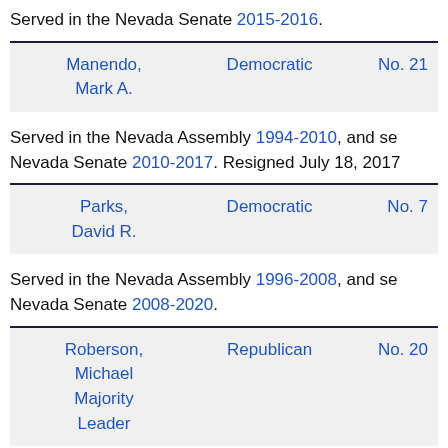Served in the Nevada Senate 2015-2016.
| Name | Party | District |
| --- | --- | --- |
| Manendo, Mark A. | Democratic | No. 21 |
Served in the Nevada Assembly 1994-2010, and se Nevada Senate 2010-2017. Resigned July 18, 2017
| Name | Party | District |
| --- | --- | --- |
| Parks, David R. | Democratic | No. 7 |
Served in the Nevada Assembly 1996-2008, and se Nevada Senate 2008-2020.
| Name | Party | District |
| --- | --- | --- |
| Roberson, Michael Majority Leader | Republican | No. 20 |